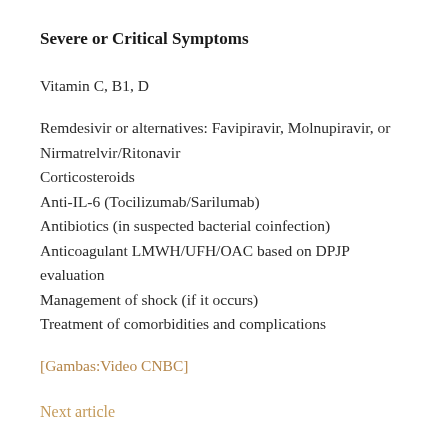Severe or Critical Symptoms
Vitamin C, B1, D
Remdesivir or alternatives: Favipiravir, Molnupiravir, or Nirmatrelvir/Ritonavir
Corticosteroids
Anti-IL-6 (Tocilizumab/Sarilumab)
Antibiotics (in suspected bacterial coinfection)
Anticoagulant LMWH/UFH/OAC based on DPJP evaluation
Management of shock (if it occurs)
Treatment of comorbidities and complications
[Gambas:Video CNBC]
Next article
People who often get the flu are more immune than